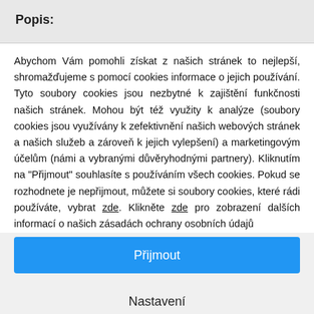Popis:
Abychom Vám pomohli získat z našich stránek to nejlepší, shromažďujeme s pomocí cookies informace o jejich používání. Tyto soubory cookies jsou nezbytné k zajištění funkčnosti našich stránek. Mohou být též využity k analýze (soubory cookies jsou využívány k zefektivnění našich webových stránek a našich služeb a zároveň k jejich vylepšení) a marketingovým účelům (námi a vybranými důvěryhodnými partnery). Kliknutím na "Přijmout" souhlasíte s používáním všech cookies. Pokud se rozhodnete je nepřijmout, můžete si soubory cookies, které rádi používáte, vybrat zde. Klikněte zde pro zobrazení dalších informací o našich zásadách ochrany osobních údajů
Přijmout
Odmítnout
Nastavení